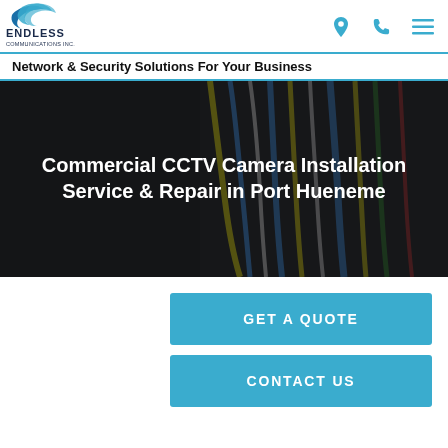[Figure (logo): Endless Communications Inc. logo with stylized swoosh and text]
Network & Security Solutions For Your Business
[Figure (photo): Dark background photo of network cables and electrical equipment]
Commercial CCTV Camera Installation Service & Repair in Port Hueneme
GET A QUOTE
CONTACT US